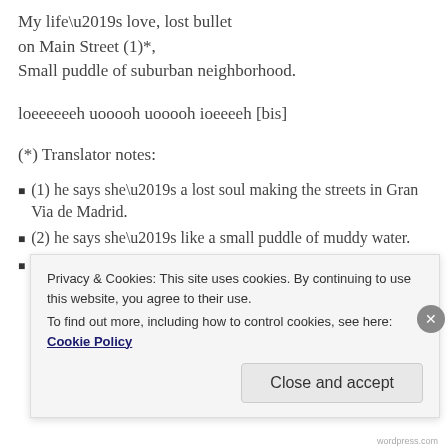My life’s love, lost bullet on Main Street (1)*, Small puddle of suburban neighborhood.
loeeeeeeh uooooh uooooh ioeeeeh [bis]
(*) Translator notes:
(1) he says she’s a lost soul making the streets in Gran Via de Madrid.
(2) he says she’s like a small puddle of muddy water.
(3) I guess he means she’s as soft and fragil as a
Privacy & Cookies: This site uses cookies. By continuing to use this website, you agree to their use.
To find out more, including how to control cookies, see here: Cookie Policy
Close and accept